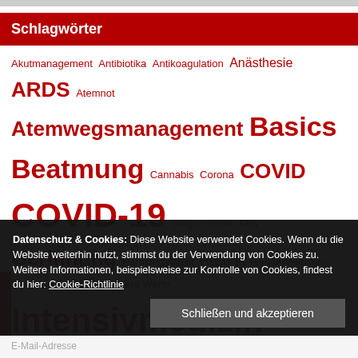Schlagwörter
Akutmanagement Antibiotika Antikoagulation Anästhesie ARDS Atemnot Atemwegsmanagement Basics Beatmung Cannabis Corona COVID COVID-19 Dengue DOAK EKG Gerinnung Harnwegsinfekt Heparin Hämodynamisches Monitoring Impfung Innere Werte Intensivmedizin Journal Club Kindesmisshandlung Kruppanfall Leichenschau Leitlinien Lungenembolie maligne Hyperthermie Medikament Narkose NO-Beatmung Notfallmedizin Notfallversorgung Polytrauma Prämedikation präoperativ Pädiatrie Reanimation
Datenschutz & Cookies: Diese Website verwendet Cookies. Wenn du die Website weiterhin nutzt, stimmst du der Verwendung von Cookies zu. Weitere Informationen, beispielsweise zur Kontrolle von Cookies, findest du hier: Cookie-Richtlinie
Schließen und akzeptieren
E-Mail-Adresse